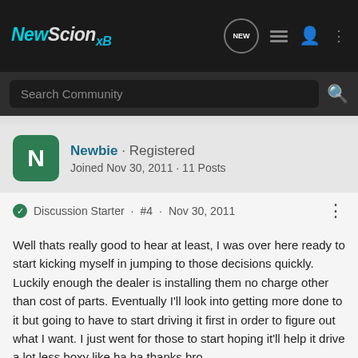NewScionxB
Search Community
Newbie · Registered
Joined Nov 30, 2011 · 11 Posts
Discussion Starter · #4 · Nov 30, 2011
Well thats really good to hear at least, I was over here ready to start kicking myself in jumping to those decisions quickly. Luckily enough the dealer is installing them no charge other than cost of parts. Eventually I'll look into getting more done to it but going to have to start driving it first in order to figure out what I want. I just went for those to start hoping it'll help it drive a lot less boxy like ha ha thanks bro